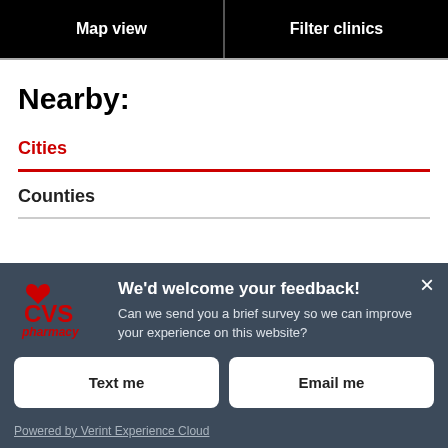Map view
Filter clinics
Nearby:
Cities
Counties
[Figure (screenshot): CVS Pharmacy feedback survey overlay with headline 'We'd welcome your feedback!', body text 'Can we send you a brief survey so we can improve your experience on this website?', two buttons labeled 'Text me' and 'Email me', and footer 'Powered by Verint Experience Cloud']
We'd welcome your feedback!
Can we send you a brief survey so we can improve your experience on this website?
Text me
Email me
Powered by Verint Experience Cloud